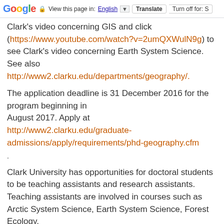Google  View this page in: English [▼]  Translate  Turn off for: S
Clark's video concerning GIS and click (https://www.youtube.com/watch?v=2umQXWulN9g) to see Clark's video concerning Earth System Science. See also http://www2.clarku.edu/departments/geography/.
The application deadline is 31 December 2016 for the program beginning in August 2017. Apply at http://www2.clarku.edu/graduate-admissions/apply/requirements/phd-geography.cfm
.
Clark University has opportunities for doctoral students to be teaching assistants and research assistants. Teaching assistants are involved in courses such as Arctic System Science, Earth System Science, Forest Ecology, Geographic Information Science, Land Change Modeling, Quantitative Methods, Remote Sensing and Wildlife Conservation. Research assistants work